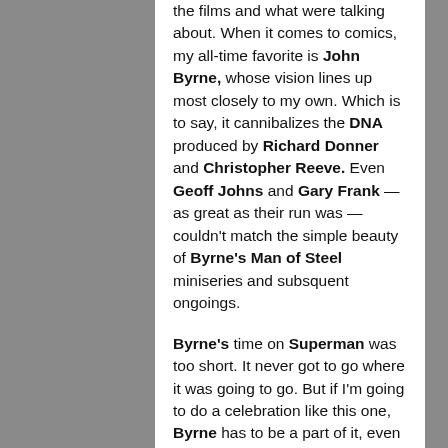the films and what were talking about. When it comes to comics, my all-time favorite is John Byrne, whose vision lines up most closely to my own. Which is to say, it cannibalizes the DNA produced by Richard Donner and Christopher Reeve. Even Geoff Johns and Gary Frank — as great as their run was — couldn't match the simple beauty of Byrne's Man of Steel miniseries and subsquent ongoings.
Byrne's time on Superman was too short. It never got to go where it was going to go. But if I'm going to do a celebration like this one, Byrne has to be a part of it, even if